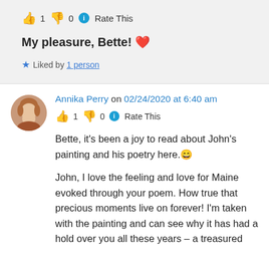👍 1 👎 0 ℹ Rate This
My pleasure, Bette! ❤️
⭐ Liked by 1 person
Annika Perry on 02/24/2020 at 6:40 am
👍 1 👎 0 ℹ Rate This
Bette, it's been a joy to read about John's painting and his poetry here. 😀
John, I love the feeling and love for Maine evoked through your poem. How true that precious moments live on forever! I'm taken with the painting and can see why it has had a hold over you all these years – a treasured